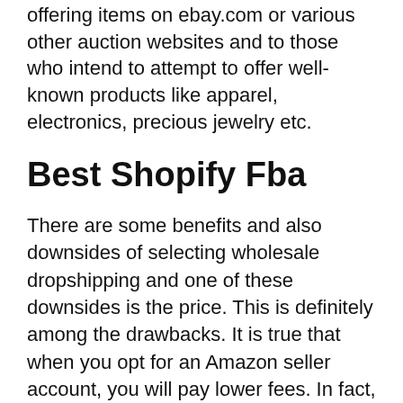offering items on ebay.com or various other auction websites and to those who intend to attempt to offer well-known products like apparel, electronics, precious jewelry etc.
Best Shopify Fba
There are some benefits and also downsides of selecting wholesale dropshipping and one of these downsides is the price. This is definitely among the drawbacks. It is true that when you opt for an Amazon seller account, you will pay lower fees. In fact, when you are collaborating with a solitary system rates system, the price per unit drops substantially. Yet is this enough to make your ecommerce organization work